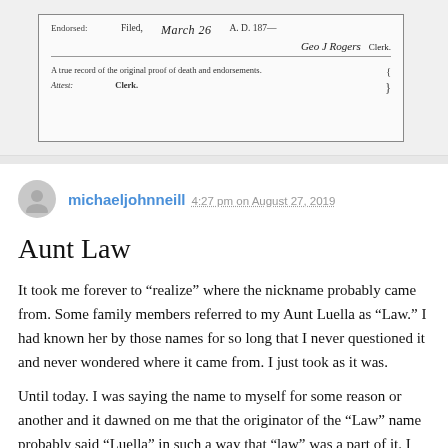[Figure (photo): Scanned historical document showing filed endorsement with handwritten date 'March 26', year 'A.D. 187-', signature 'Geo J Rogers', 'Clerk', and printed text 'A true record of the original proof of death and endorsements. Attest: Clerk.']
michaeljohnneill 4:27 pm on August 27, 2019
Aunt Law
It took me forever to “realize” where the nickname probably came from. Some family members referred to my Aunt Luella as “Law.” I had known her by those names for so long that I never questioned it and never wondered where it came from. I just took as it was.
Until today. I was saying the name to myself for some reason or another and it dawned on me that the originator of the “Law” name probably said “Luella” in such a way that “law” was a part of it. I never heard it pronounced that s...